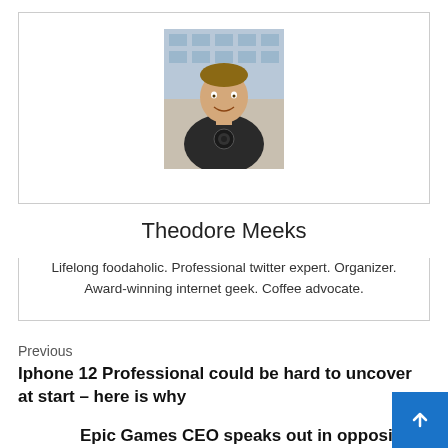[Figure (photo): Headshot photo of Theodore Meeks, a smiling man in a dark t-shirt with a building in the background]
Theodore Meeks
Lifelong foodaholic. Professional twitter expert. Organizer. Award-winning internet geek. Coffee advocate.
Previous
Iphone 12 Professional could be hard to uncover at start – here is why
Epic Games CEO speaks out in opposition to Google app retailer 'monopoly'